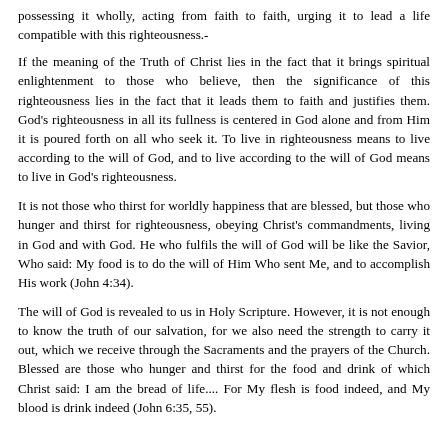possessing it wholly, acting from faith to faith, urging it to lead a life compatible with this righteousness.-
If the meaning of the Truth of Christ lies in the fact that it brings spiritual enlightenment to those who believe, then the significance of this righteousness lies in the fact that it leads them to faith and justifies them. God's righteousness in all its fullness is centered in God alone and from Him it is poured forth on all who seek it. To live in righteousness means to live according to the will of God, and to live according to the will of God means to live in God's righteousness.
It is not those who thirst for worldly happiness that are blessed, but those who hunger and thirst for righteousness, obeying Christ's commandments, living in God and with God. He who fulfils the will of God will be like the Savior, Who said: My food is to do the will of Him Who sent Me, and to accomplish His work (John 4:34).
The will of God is revealed to us in Holy Scripture. However, it is not enough to know the truth of our salvation, for we also need the strength to carry it out, which we receive through the Sacraments and the prayers of the Church. Blessed are those who hunger and thirst for the food and drink of which Christ said: I am the bread of life.... For My flesh is food indeed, and My blood is drink indeed (John 6:35, 55).